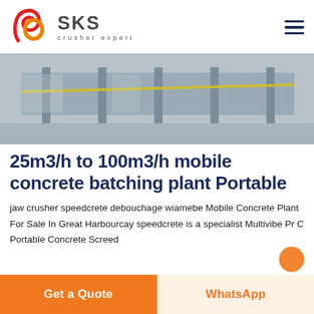SKS crusher expert
[Figure (photo): Industrial concrete batching plant machinery showing conveyor and metal framework in grey tones with a yellow stripe]
25m3/h to 100m3/h mobile concrete batching plant Portable
jaw crusher speedcrete debouchage wiamebe Mobile Concrete Plant For Sale In Great Harbourcay speedcrete is a specialist Multivibe Pr C Portable Concrete Screed
Get a Quote
WhatsApp